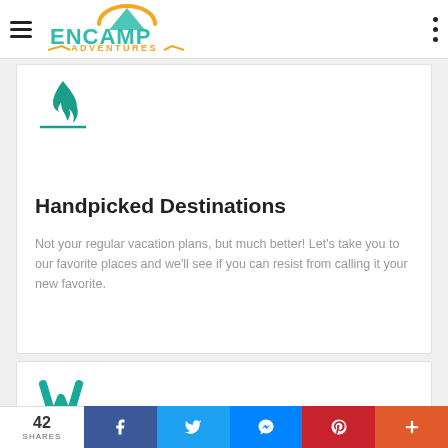Encamp Adventures
[Figure (logo): Encamp Adventures logo with tent/mountain icon above green ENCAMP text and yellow ADVENTURES text with wing decorations]
[Figure (illustration): Flame / campfire icon in dark teal/green color above a horizontal line]
Handpicked Destinations
Not your regular vacation plans, but much better! Let's take you to our favorite places and we'll see if you can resist from calling it your new favorite.
[Figure (logo): Stylized W or wallet icon in teal/green color]
42 SHARES | Facebook | Twitter | Messenger | Pinterest | +